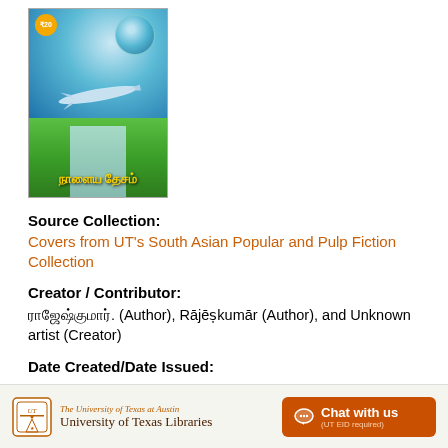[Figure (illustration): Book cover for a Tamil novel showing an airplane over a runway with a globe, green landscape, and Tamil script title text in yellow on the cover. Orange badge in top left.]
Source Collection:
Covers from UT's South Asian Popular and Pulp Fiction Collection
Creator / Contributor:
ராஜேஷ்குமார். (Author), Rājēṣkumār (Author), and Unknown artist (Creator)
Date Created/Date Issued:
The University of Texas at Austin University of Texas Libraries   Chat with us (UT EID required)